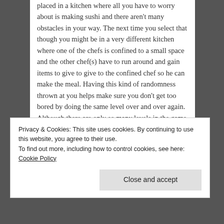placed in a kitchen where all you have to worry about is making sushi and there aren't many obstacles in your way. The next time you select that though you might be in a very different kitchen where one of the chefs is confined to a small space and the other chef(s) have to run around and gain items to give to give to the confined chef so he can make the meal. Having this kind of randomness thrown at you helps make sure you don't get too bored by doing the same level over and over again. Although there are only so many levels in the game so you will no doubt play the same level repeatedly. The versus mode should be pretty self-explanatory. Once again you can either locally with friends on the couch or online via either a public or private session. If you want to you can play the Arcade
Privacy & Cookies: This site uses cookies. By continuing to use this website, you agree to their use.
To find out more, including how to control cookies, see here: Cookie Policy
Close and accept